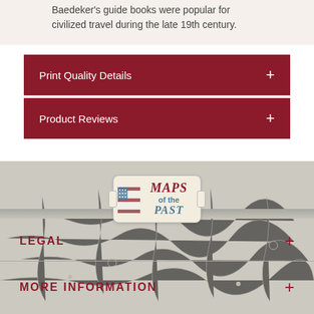Baedeker's guide books were popular for civilized travel during the late 19th century.
Print Quality Details
Product Reviews
[Figure (logo): Maps of the Past logo — decorative banner with American flag motif, text reading MAPS of PAST in red and teal serif font]
LEGAL
MORE INFORMATION